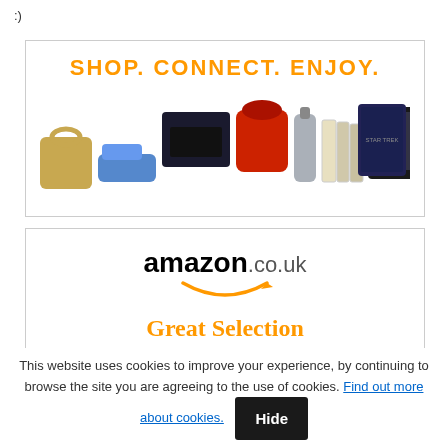:)
[Figure (illustration): Advertisement banner with 'SHOP. CONNECT. ENJOY.' in orange bold text and product images including handbag, gaming console, kitchen mixer, water bottle, books, tablet, and movie blu-ray.]
[Figure (logo): Amazon.co.uk logo with orange arrow smile beneath, and tagline 'Great Selection Low Prices' in orange text.]
This website uses cookies to improve your experience, by continuing to browse the site you are agreeing to the use of cookies. Find out more about cookies.  Hide